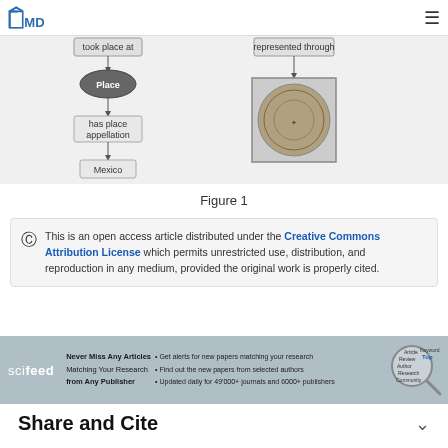MD [logo] [hamburger menu]
[Figure (flowchart): Partial flowchart/diagram showing 'Place' node connected to 'took place at' and 'has place appellation' with 'Mexico' below, and a circular Aztec calendar coin image on the right connected via 'represented through'.]
Figure 1
This is an open access article distributed under the Creative Commons Attribution License which permits unrestricted use, distribution, and reproduction in any medium, provided the original work is properly cited.
[Figure (infographic): SciFeed banner: 'Never Miss Any Articles Matching Your Research from Any Publisher. Get alerts for new papers matching your research. Find out the new papers from selected authors. Updated daily for 49000+ journals and 6000+ publishers.' With magnifying glass graphic showing Article, Review, Author, Research, Community, Keyword, Topic labels.]
Share and Cite